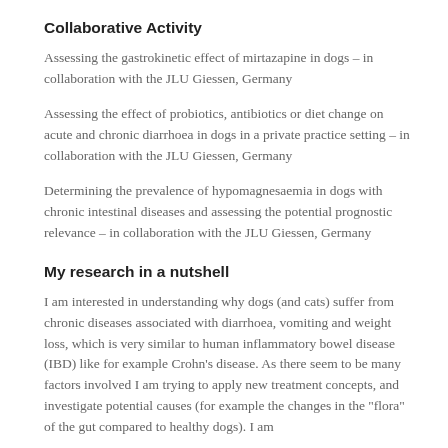Collaborative Activity
Assessing the gastrokinetic effect of mirtazapine in dogs – in collaboration with the JLU Giessen, Germany
Assessing the effect of probiotics, antibiotics or diet change on acute and chronic diarrhoea in dogs in a private practice setting – in collaboration with the JLU Giessen, Germany
Determining the prevalence of hypomagnesaemia in dogs with chronic intestinal diseases and assessing the potential prognostic relevance – in collaboration with the JLU Giessen, Germany
My research in a nutshell
I am interested in understanding why dogs (and cats) suffer from chronic diseases associated with diarrhoea, vomiting and weight loss, which is very similar to human inflammatory bowel disease (IBD) like for example Crohn's disease. As there seem to be many factors involved I am trying to apply new treatment concepts, and investigate potential causes (for example the changes in the "flora" of the gut compared to healthy dogs). I am